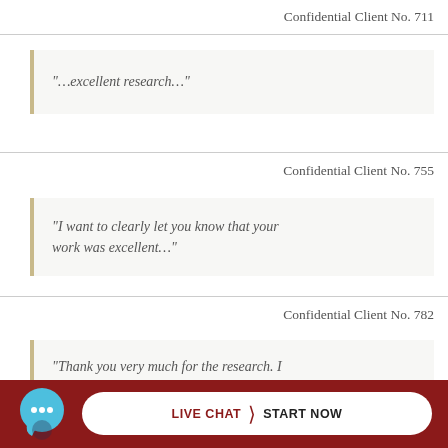Confidential Client No. 711
“…excellent research…”
Confidential Client No. 755
“I want to clearly let you know that your work was excellent…”
Confidential Client No. 782
“Thank you very much for the research. I th… ho…
[Figure (other): Live chat widget with chat bubble icon and 'LIVE CHAT > START NOW' button on dark red background]